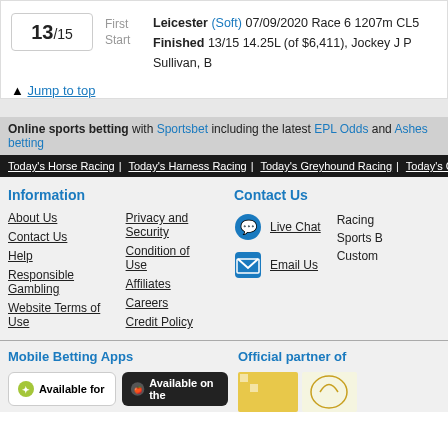13/15 — First Start — Leicester (Soft) 07/09/2020 Race 6 1207m CL5 Finished 13/15 14.25L (of $6,411), Jockey J P Sullivan, B
▲ Jump to top
Online sports betting with Sportsbet including the latest EPL Odds and Ashes betting
Today's Horse Racing | Today's Harness Racing | Today's Greyhound Racing | Today's Quaddie | S
Information
Contact Us
About Us
Contact Us
Help
Responsible Gambling
Website Terms of Use
Privacy and Security
Condition of Use
Affiliates
Careers
Credit Policy
Live Chat
Email Us
Racing
Sports B
Custom
Mobile Betting Apps
Official partner of
Available for
Available on the